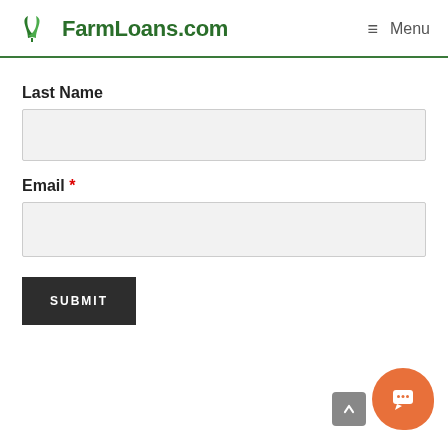FarmLoans.com  Menu
Last Name
[Figure (other): Text input field for Last Name (empty, light gray background)]
Email *
[Figure (other): Text input field for Email (empty, light gray background)]
SUBMIT
[Figure (other): Orange chat bubble icon in bottom right corner]
[Figure (other): Gray scroll-to-top button with up arrow]